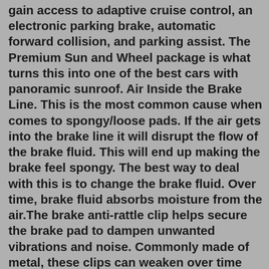gain access to adaptive cruise control, an electronic parking brake, automatic forward collision, and parking assist. The Premium Sun and Wheel package is what turns this into one of the best cars with panoramic sunroof. Air Inside the Brake Line. This is the most common cause when comes to spongy/loose pads. If the air gets into the brake line it will disrupt the flow of the brake fluid. This will end up making the brake feel spongy. The best way to deal with this is to change the brake fluid. Over time, brake fluid absorbs moisture from the air.The brake anti-rattle clip helps secure the brake pad to dampen unwanted vibrations and noise. Commonly made of metal, these clips can weaken over time due to the heating and cooling cycles of the brakes. This can cause pad movement, uneven pad wear, and brake noise. It is important to replace any brake pad hardware when replacing the brake pads. Some brake pads include brake hardware in the box.Jan 09, 2018 · solution: have your exhaust system checked by your mechanic